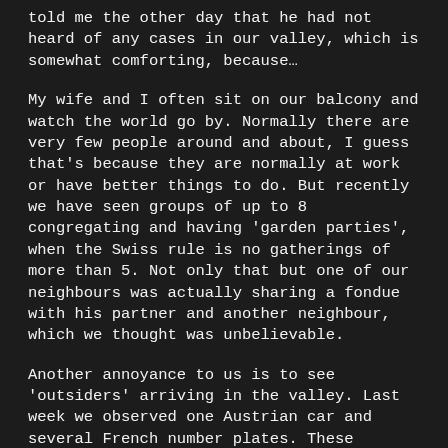told me the other day that he had not heard of any cases in our valley, which is somewhat comforting, because…
My wife and I often sit on our balcony and watch the world go by. Normally there are very few people around and about, I guess that's because they are normally at work or have better things to do. But recently we have seen groups of up to 8 congregating and having 'garden parties', when the Swiss rule is no gatherings of more than 5. Not only that but one of our neighbours was actually sharing a fondue with his partner and another neighbour, which we thought was unbelievable.
Another annoyance to us is to see 'outsiders' arriving in the valley. Last week we observed one Austrian car and several French number plates. These countries have closed their borders to incomers, so why do they feel it necessary to travel out of their own country? In addition, all Swiss cars have a 2 character canton prefix on their number plate indicating their owner's origin (like GE for Geneva and FR for Fribourg) and we've regularly observed non-Valaisan (VS) cars in and around our neighbourhood. Many Swiss have second homes and come up and (or invite their friends for